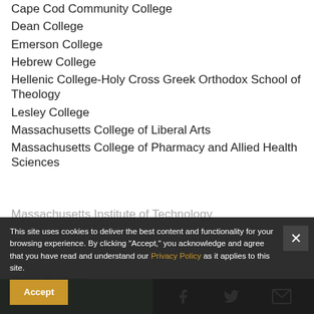Cape Cod Community College
Dean College
Emerson College
Hebrew College
Hellenic College-Holy Cross Greek Orthodox School of Theology
Lesley College
Massachusetts College of Liberal Arts
Massachusetts College of Pharmacy and Allied Health Sciences
Massachusetts Institute of Technology
Regis College
Simon's Rock College of Bard
Springfield College
This site uses cookies to deliver the best content and functionality for your browsing experience. By clicking "Accept," you acknowledge and agree that you have read and understand our Privacy Policy as it applies to this site.
Donate ♥  [Facebook] [Twitter] [Email]